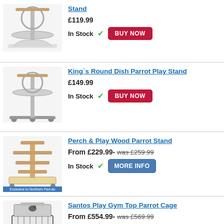[Figure (photo): Parrot play stand with round dish and curved bar top]
Stand
£119.99
In Stock ✔ BUY NOW
[Figure (photo): King's Round Dish Parrot Play Stand on wheeled base]
King`s Round Dish Parrot Play Stand
£149.99
In Stock ✔ BUY NOW
[Figure (photo): Perch & Play Wood Parrot Stand, wooden multi-perch stand on wheels, Exclusive to Northern Parrots]
Perch & Play Wood Parrot Stand
From £229.99- was £259.99
In Stock ✔ MORE INFO
[Figure (photo): Santos Play Gym Top Parrot Cage, large cage with play top]
Santos Play Gym Top Parrot Cage
From £554.99- was £569.99
Direct Despatch